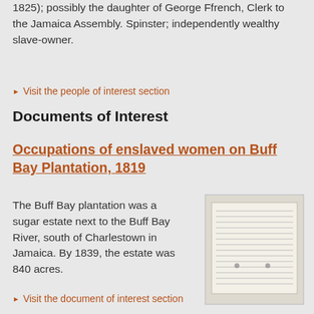1825); possibly the daughter of George Ffrench, Clerk to the Jamaica Assembly. Spinster; independently wealthy slave-owner.
Visit the people of interest section
Documents of Interest
Occupations of enslaved women on Buff Bay Plantation, 1819
The Buff Bay plantation was a sugar estate next to the Buff Bay River, south of Charlestown in Jamaica. By 1839, the estate was 840 acres.
[Figure (photo): A historical document — handwritten or printed ledger page with rows of text, photographed in black and white or sepia tone.]
Visit the document of interest section